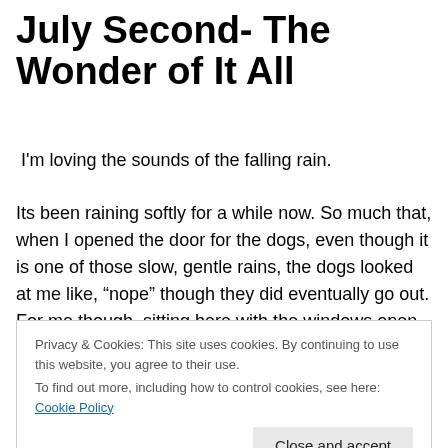July Second- The Wonder of It All
I'm loving the sounds of the falling rain.
Its been raining softly for a while now. So much that, when I opened the door for the dogs, even though it is one of those slow, gentle rains, the dogs looked at me like, “nope” though they did eventually go out. For me though, sitting here with the windows open, listening to the sounds its magic in motion. The child in me is wanting to go
Privacy & Cookies: This site uses cookies. By continuing to use this website, you agree to their use.
To find out more, including how to control cookies, see here: Cookie Policy
[Close and accept]
inner child out to consider the wonders around me.